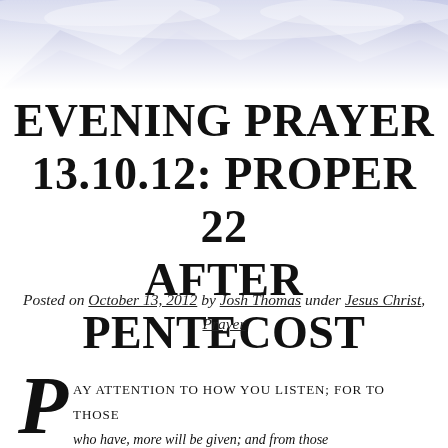[Figure (photo): Mountain range with snow and clouds, fading into white at the bottom. Soft purple-blue tones.]
EVENING PRAYER 13.10.12: PROPER 22 AFTER PENTECOST
Posted on October 13, 2012 by Josh Thomas under Jesus Christ, Prayer
Pay attention to how you listen; for to those who have, more will be given; and from those